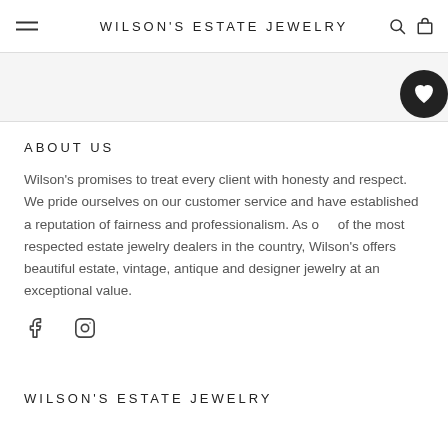WILSON'S ESTATE JEWELRY
ABOUT US
Wilson's promises to treat every client with honesty and respect. We pride ourselves on our customer service and have established a reputation of fairness and professionalism. As one of the most respected estate jewelry dealers in the country, Wilson's offers beautiful estate, vintage, antique and designer jewelry at an exceptional value.
[Figure (logo): Facebook and Instagram social media icons]
WILSON'S ESTATE JEWELRY